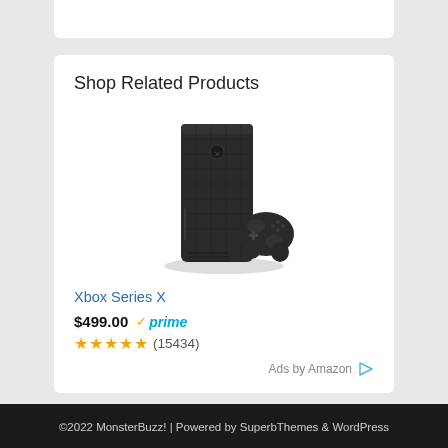Shop Related Products
[Figure (photo): Xbox Series X console (tall black box) with black wireless controller in front, product photo on white background]
Xbox Series X
$499.00 ✓prime ★★★★★ (15434)
Ads by Amazon
©2022 MonsterBuzz! | Powered by SuperbThemes & WordPress